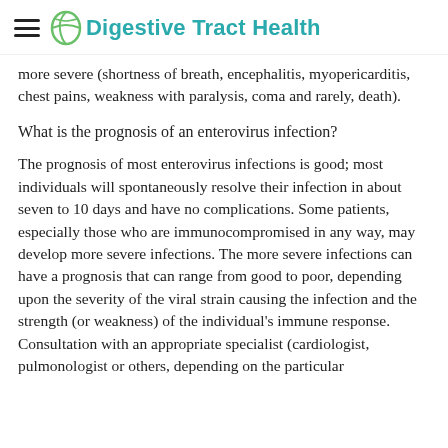Digestive Tract Health
more severe (shortness of breath, encephalitis, myopericarditis, chest pains, weakness with paralysis, coma and rarely, death).
What is the prognosis of an enterovirus infection?
The prognosis of most enterovirus infections is good; most individuals will spontaneously resolve their infection in about seven to 10 days and have no complications. Some patients, especially those who are immunocompromised in any way, may develop more severe infections. The more severe infections can have a prognosis that can range from good to poor, depending upon the severity of the viral strain causing the infection and the strength (or weakness) of the individual's immune response. Consultation with an appropriate specialist (cardiologist, pulmonologist or others, depending on the particular